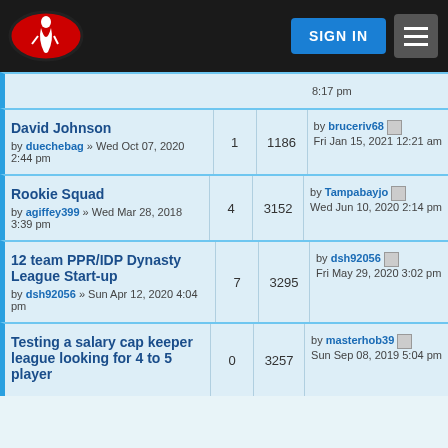SIGN IN
David Johnson by duechebag » Wed Oct 07, 2020 2:44 pm | 1 | 1186 | by bruceriv68 Fri Jan 15, 2021 12:21 am
Rookie Squad by agiffey399 » Wed Mar 28, 2018 3:39 pm | 4 | 3152 | by Tampabayjo Wed Jun 10, 2020 2:14 pm
12 team PPR/IDP Dynasty League Start-up by dsh92056 » Sun Apr 12, 2020 4:04 pm | 7 | 3295 | by dsh92056 Fri May 29, 2020 3:02 pm
Testing a salary cap keeper league looking for 4 to 5 player by masterhob39 Sun Sep 08, 2019 5:04 pm | 0 | 3257 | by masterhob39 Sun Sep 08, 2019 5:04 pm